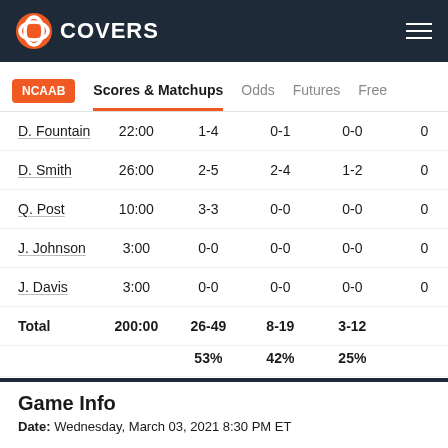COVERS
NCAAB  Scores & Matchups  Odds  Futures  Free
| Player | MIN | FGM-A | 3PM-A | FTM-A | PTS |
| --- | --- | --- | --- | --- | --- |
| D. Fountain | 22:00 | 1-4 | 0-1 | 0-0 | 0 |
| D. Smith | 26:00 | 2-5 | 2-4 | 1-2 | 0 |
| Q. Post | 10:00 | 3-3 | 0-0 | 0-0 | 0 |
| J. Johnson | 3:00 | 0-0 | 0-0 | 0-0 | 0 |
| J. Davis | 3:00 | 0-0 | 0-0 | 0-0 | 0 |
| Total | 200:00 | 26-49 | 8-19 | 3-12 |  |
|  |  | 53% | 42% | 25% |  |
Game Info
Date: Wednesday, March 03, 2021 8:30 PM ET